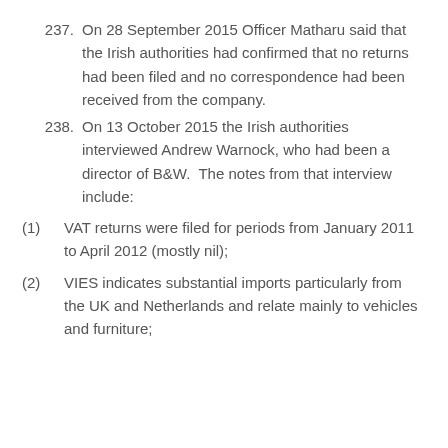237. On 28 September 2015 Officer Matharu said that the Irish authorities had confirmed that no returns had been filed and no correspondence had been received from the company.
238. On 13 October 2015 the Irish authorities interviewed Andrew Warnock, who had been a director of B&W. The notes from that interview include:
(1) VAT returns were filed for periods from January 2011 to April 2012 (mostly nil);
(2) VIES indicates substantial imports particularly from the UK and Netherlands and relate mainly to vehicles and furniture;